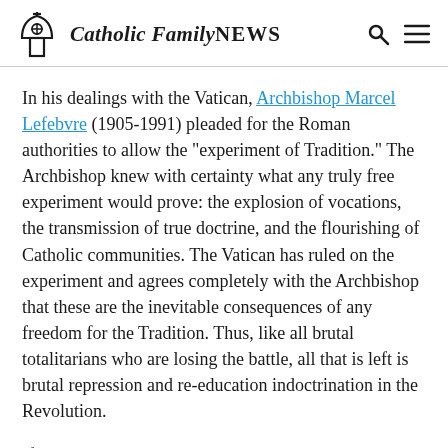Catholic Family NEWS
In his dealings with the Vatican, Archbishop Marcel Lefebvre (1905-1991) pleaded for the Roman authorities to allow the "experiment of Tradition." The Archbishop knew with certainty what any truly free experiment would prove: the explosion of vocations, the transmission of true doctrine, and the flourishing of Catholic communities. The Vatican has ruled on the experiment and agrees completely with the Archbishop that these are the inevitable consequences of any freedom for the Tradition. Thus, like all brutal totalitarians who are losing the battle, all that is left is brutal repression and re-education indoctrination in the Revolution.
If anyone had doubts in 1988 about his decision to preserve the Catholic priesthood by consecrating bishops without Vatican permission, those doubts...